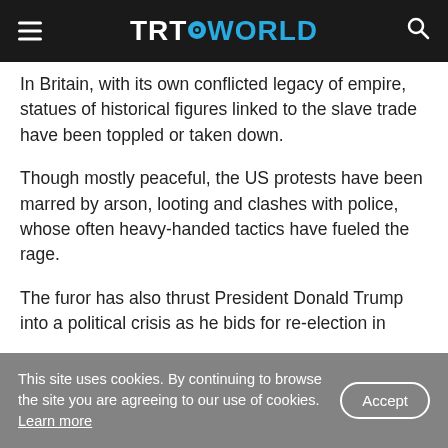TRT WORLD
In Britain, with its own conflicted legacy of empire, statues of historical figures linked to the slave trade have been toppled or taken down.
Though mostly peaceful, the US protests have been marred by arson, looting and clashes with police, whose often heavy-handed tactics have fueled the rage.
The furor has also thrust President Donald Trump into a political crisis as he bids for re-election in
This site uses cookies. By continuing to browse the site you are agreeing to our use of cookies. Learn more